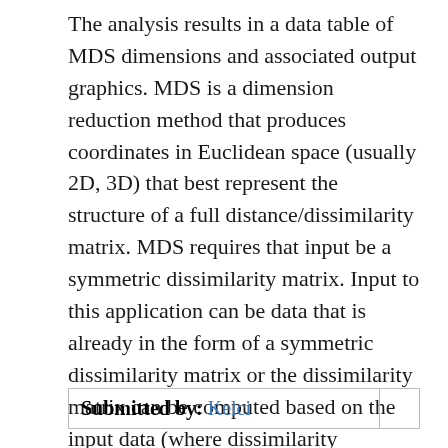The analysis results in a data table of MDS dimensions and associated output graphics. MDS is a dimension reduction method that produces coordinates in Euclidean space (usually 2D, 3D) that best represent the structure of a full distance/dissimilarity matrix. MDS requires that input be a symmetric dissimilarity matrix. Input to this application can be data that is already in the form of a symmetric dissimilarity matrix or the dissimilarity matrix can be computed based on the input data (where dissimilarity measures are calculated between rows of the input data table in R).
| Submitted by: Kelci |  |
| --- | --- |